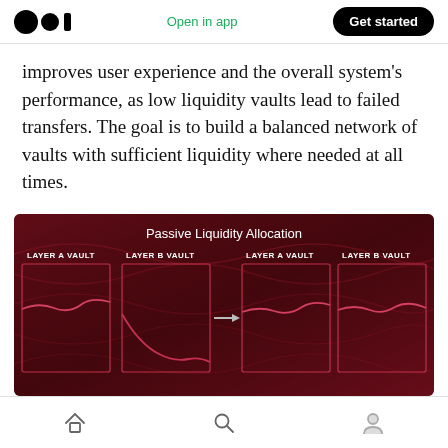Open in app  |  Get started
improves user experience and the overall system's performance, as low liquidity vaults lead to failed transfers. The goal is to build a balanced network of vaults with sufficient liquidity where needed at all times.
[Figure (infographic): Passive Liquidity Allocation diagram showing four dark red vaults labeled: LAYER A VAULT, LAYER B VAULT, LAYER A VAULT, LAYER B VAULT, with wave-line graphics inside each vault and an arrow between the second and third vaults indicating reallocation.]
Home  Search  Profile